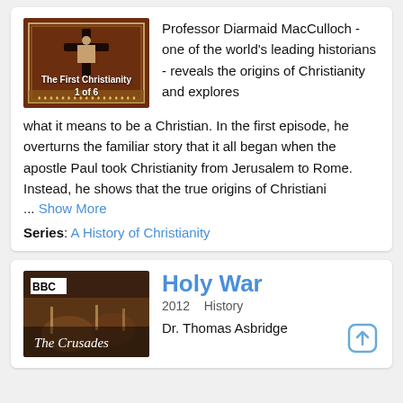[Figure (photo): Thumbnail image for 'The First Christianity 1 of 6' showing a crucifix on a dark reddish-brown background with ornate border]
Professor Diarmaid MacCulloch - one of the world's leading historians - reveals the origins of Christianity and explores what it means to be a Christian. In the first episode, he overturns the familiar story that it all began when the apostle Paul took Christianity from Jerusalem to Rome. Instead, he shows that the true origins of Christiani
... Show More
Series: A History of Christianity
[Figure (photo): BBC thumbnail for 'The Crusades' documentary showing medieval battle scene]
Holy War
2012   History
Dr. Thomas Asbridge